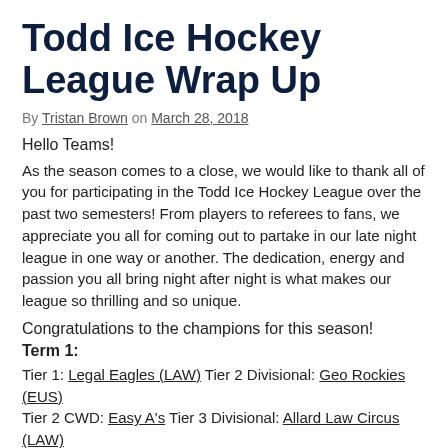Todd Ice Hockey League Wrap Up
By Tristan Brown on March 28, 2018
Hello Teams!
As the season comes to a close, we would like to thank all of you for participating in the Todd Ice Hockey League over the past two semesters! From players to referees to fans, we appreciate you all for coming out to partake in our late night league in one way or another. The dedication, energy and passion you all bring night after night is what makes our league so thrilling and so unique.
Congratulations to the champions for this season!
Term 1:
Tier 1: Legal Eagles (LAW) Tier 2 Divisional: Geo Rockies (EUS)
Tier 2 CWD: Easy A's Tier 3 Divisional: Allard Law Circus (LAW)
Tier 2 CWD: ...